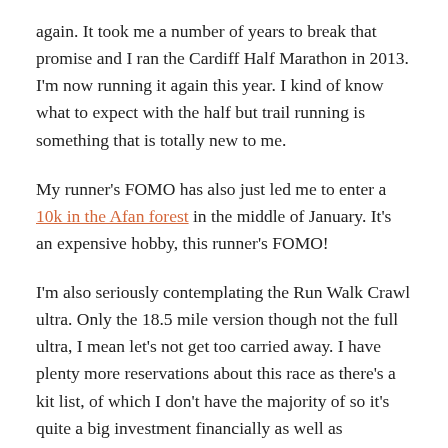again. It took me a number of years to break that promise and I ran the Cardiff Half Marathon in 2013. I'm now running it again this year. I kind of know what to expect with the half but trail running is something that is totally new to me.
My runner's FOMO has also just led me to enter a 10k in the Afan forest in the middle of January. It's an expensive hobby, this runner's FOMO!
I'm also seriously contemplating the Run Walk Crawl ultra. Only the 18.5 mile version though not the full ultra, I mean let's not get too carried away. I have plenty more reservations about this race as there's a kit list, of which I don't have the majority of so it's quite a big investment financially as well as physically and mentally.
In school I used to dread cross country running. You'd have found me at the back, walking for as much of it as I could. I even